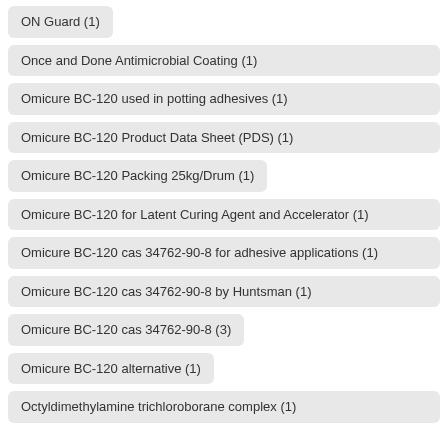ON Guard (1)
Once and Done Antimicrobial Coating (1)
Omicure BC-120 used in potting adhesives (1)
Omicure BC-120 Product Data Sheet (PDS) (1)
Omicure BC-120 Packing 25kg/Drum (1)
Omicure BC-120 for Latent Curing Agent and Accelerator (1)
Omicure BC-120 cas 34762-90-8 for adhesive applications (1)
Omicure BC-120 cas 34762-90-8 by Huntsman (1)
Omicure BC-120 cas 34762-90-8 (3)
Omicure BC-120 alternative (1)
Octyldimethylamine trichloroborane complex (1)